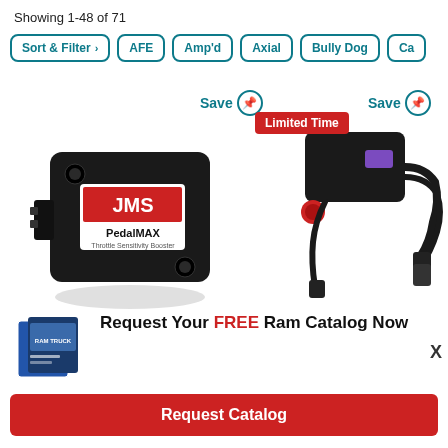Showing 1-48 of 71
Sort & Filter > | AFE | Amp'd | Axial | Bully Dog | Ca
[Figure (photo): JMS PedalMAX throttle booster module - black rectangular device with JMS logo]
[Figure (photo): Throttle booster module with wiring harness, purple connector and red button]
Save (pin icon) Limited Time
Save (pin icon)
[Figure (photo): Ram truck catalog cover images]
Request Your FREE Ram Catalog Now
Request Catalog